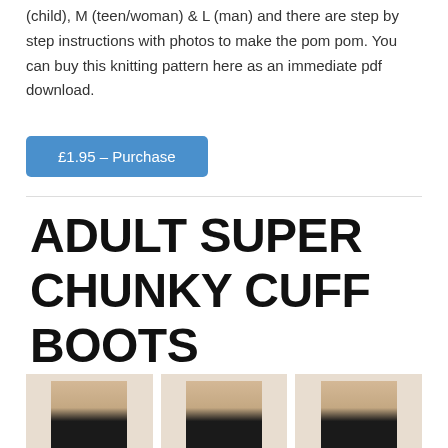(child), M (teen/woman) & L (man) and there are step by step instructions with photos to make the pom pom. You can buy this knitting pattern here as an immediate pdf download.
£1.95 – Purchase
ADULT SUPER CHUNKY CUFF BOOTS
[Figure (photo): Three photos side by side showing chunky knit cuff boot slipper shoes on feet/ankles, dark coloured soles, light coloured legs, white background.]